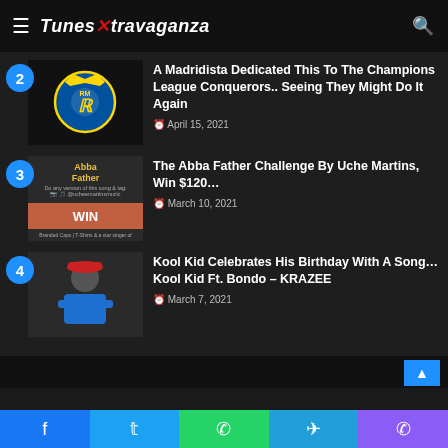TunesXtravaganza
2 - A Madridista Dedicated This To The Champions League Conquerors.. Seeing They Might Do It Again | April 15, 2021
3 - The Abba Father Challenge By Uche Martins, Win $120... | March 10, 2021
4 - Kool Kid Celebrates His Birthday With A Song... Kool Kid Ft. Bondo – KRAZEE | March 7, 2021
Facebook | Twitter | WhatsApp | Telegram | Phone